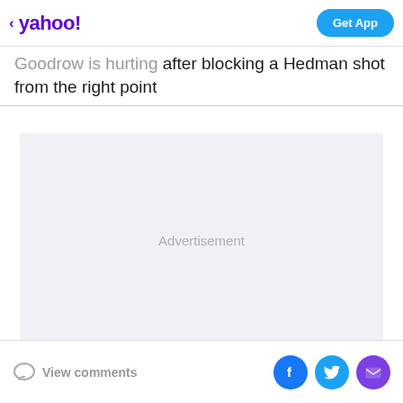< yahoo! | Get App
Goodrow is hurting after blocking a Hedman shot from the right point
[Figure (other): Advertisement placeholder box with light gray background and centered 'Advertisement' label]
View comments | Facebook share | Twitter share | Email share